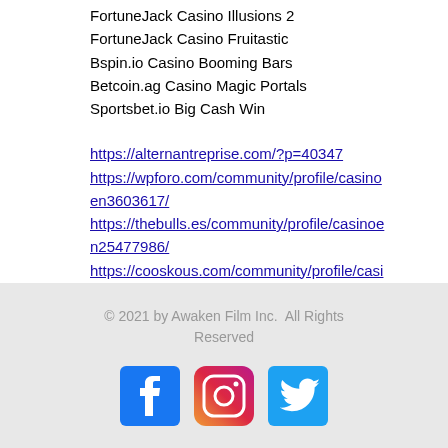FortuneJack Casino Illusions 2
FortuneJack Casino Fruitastic
Bspin.io Casino Booming Bars
Betcoin.ag Casino Magic Portals
Sportsbet.io Big Cash Win
https://alternantreprise.com/?p=40347
https://wpforo.com/community/profile/casinoen3603617/
https://thebulls.es/community/profile/casinoen25477986/
https://cooskous.com/community/profile/casinoen35741151/
© 2021 by Awaken Film Inc.  All Rights Reserved